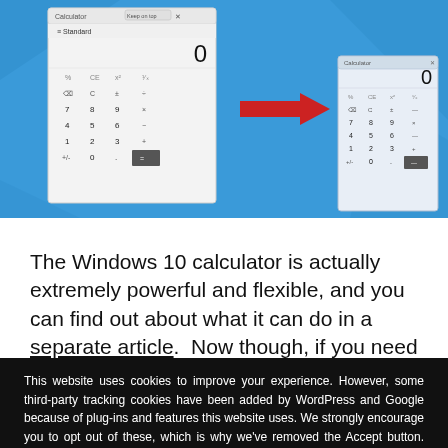[Figure (screenshot): Screenshot showing Windows 10 Calculator in standard mode being resized/compacted — a larger calculator window on the left with a red arrow pointing right to a smaller, more compact calculator window on the right, both shown on a blue Windows desktop background.]
The Windows 10 calculator is actually extremely powerful and flexible, and you can find out about what it can do in a separate article.  Now though, if you need
This website uses cookies to improve your experience. However, some third-party tracking cookies have been added by WordPress and Google because of plug-ins and features this website uses. We strongly encourage you to opt out of these, which is why we've removed the Accept button. Read More